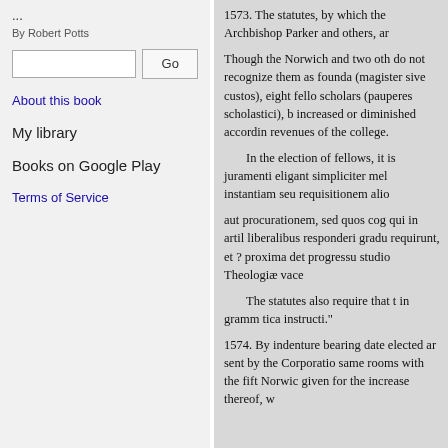...
By Robert Potts
About this book
My library
Books on Google Play
Terms of Service
1573. The statutes, by which the Archbishop Parker and others, a...
Though the Norwich and two oth... do not recognize them as founda... (magister sive custos), eight fello... scholars (pauperes scholastici), b... increased or diminished accordin... revenues of the college.
In the election of fellows, it is ... juramenti eligant simpliciter mel... instantiam seu requisitionem alio...
aut procurationem, sed quos cog... qui in artil liberalibus responderi... gradu requirunt, et ? proxima det... progressu studio Theologiæ vace...
The statutes also require that t... in gramm tica instructi."
1574. By indenture bearing date ... elected ar sent by the Corporatio... same rooms with the fift Norwic... given for the increase thereof, w...